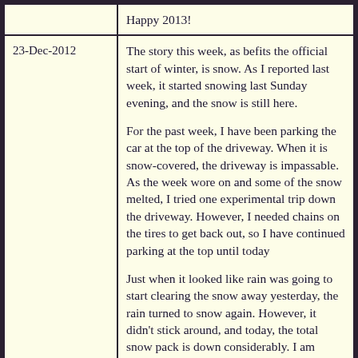|  | Happy 2013! |
| 23-Dec-2012 | The story this week, as befits the official start of winter, is snow. As I reported last week, it started snowing last Sunday evening, and the snow is still here.

For the past week, I have been parking the car at the top of the driveway. When it is snow-covered, the driveway is impassable. As the week wore on and some of the snow melted, I tried one experimental trip down the driveway. However, I needed chains on the tires to get back out, so I have continued parking at the top until today

Just when it looked like rain was going to start clearing the snow away yesterday, the rain turned to snow again. However, it didn't stick around, and today, the total snow pack is down considerably. I am finally able to use the driveway again.

Finding places to take Larkin for a walk in |